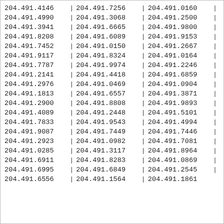| col1 | sep1 | col2 | sep2 | col3 | sep3 |
| --- | --- | --- | --- | --- | --- |
| 204.491.4146 | | | 204.491.7256 | | | 204.491.0160 | | |
| 204.491.4990 | | | 204.491.3068 | | | 204.491.2500 | | |
| 204.491.3941 | | | 204.491.6665 | | | 204.491.9800 | | |
| 204.491.8208 | | | 204.491.6089 | | | 204.491.9153 | | |
| 204.491.7452 | | | 204.491.0150 | | | 204.491.2667 | | |
| 204.491.9117 | | | 204.491.8324 | | | 204.491.0164 | | |
| 204.491.7787 | | | 204.491.9974 | | | 204.491.2246 | | |
| 204.491.2141 | | | 204.491.4418 | | | 204.491.6859 | | |
| 204.491.2976 | | | 204.491.0469 | | | 204.491.0904 | | |
| 204.491.1813 | | | 204.491.6557 | | | 204.491.3871 | | |
| 204.491.2900 | | | 204.491.8808 | | | 204.491.9893 | | |
| 204.491.4089 | | | 204.491.2448 | | | 204.491.5101 | | |
| 204.491.7833 | | | 204.491.9543 | | | 204.491.4994 | | |
| 204.491.9087 | | | 204.491.7449 | | | 204.491.7446 | | |
| 204.491.2923 | | | 204.491.0982 | | | 204.491.7081 | | |
| 204.491.0285 | | | 204.491.3117 | | | 204.491.8964 | | |
| 204.491.6911 | | | 204.491.8283 | | | 204.491.0869 | | |
| 204.491.6995 | | | 204.491.6849 | | | 204.491.2545 | | |
| 204.491.6556 | | | 204.491.1564 | | | 204.491.1861 |  |